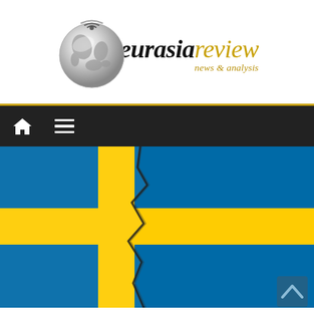[Figure (logo): Eurasia Review logo with globe and text 'eurasiareview news & analysis']
[Figure (other): Dark navigation bar with home icon and hamburger menu icon, gold top border]
[Figure (illustration): Swedish flag with a crack/fracture running down the middle, suggesting division or crisis in Sweden]